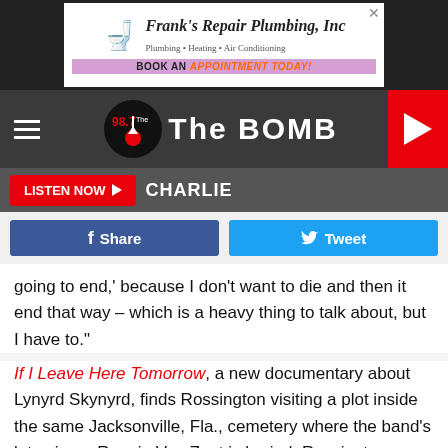[Figure (other): Frank's Repair Plumbing, Inc advertisement banner with woman and plumbing icon, 'Book an Appointment Today!' button]
[Figure (logo): 98.7 The BOMB radio station logo with hamburger menu and play button]
LISTEN NOW ▶  CHARLIE
[Figure (other): Facebook Share button and Twitter Tweet button]
going to end,' because I don't want to die and then it end that way – which is a heavy thing to talk about, but I have to."
If I Leave Here Tomorrow, a new documentary about Lynyrd Skynyrd, finds Rossington visiting a plot inside the same Jacksonville, Fla., cemetery where the band's late singer Ronnie Van Zant is buried. Rossington eventually became the
[Figure (other): All Star roofing advertisement and Since Your Grandma Rocked this Wallpaper advertisement]